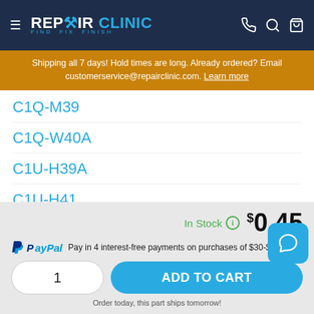[Figure (logo): Repair Clinic logo with hamburger menu and icons for phone, search, and cart on dark blue header]
Shipping all 7 days! Hold times are long. Already ordered? Email customerservice@repairclinic.com. Learn more
C1Q-M39
C1Q-W40A
C1U-H39A
C1U-H41
C1U-P27
In Stock  $0.45
PayPal Pay in 4 interest-free payments on purchases of $30-$1,500.
1   ADD TO CART
Order today, this part ships tomorrow!